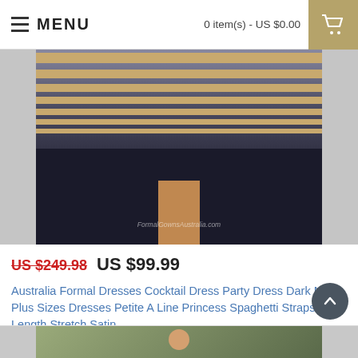MENU   0 item(s) - US $0.00
[Figure (photo): Dark navy dress with gold/cream horizontal stripes, lower portion of dress and heels visible, watermark text FormalGownsAustralia.com]
US $249.98   US $99.99
Australia Formal Dresses Cocktail Dress Party Dress Dark Navy Plus Sizes Dresses Petite A Line Princess Spaghetti Straps Tea Length Stretch Satin
Australia Formal Dresses Cocktail Dress Party Dress Dark Navy Plus Sizes Dresses Petite A Line Prin..
Add to Wish List   Add to Compare
[Figure (photo): Second product photo partially visible - appears to show a person in a dress with floral background]